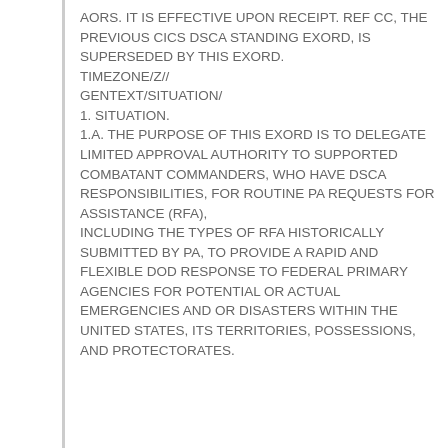AORS. IT IS EFFECTIVE UPON RECEIPT. REF CC, THE PREVIOUS CICS DSCA STANDING EXORD, IS SUPERSEDED BY THIS EXORD. TIMEZONE/Z// GENTEXT/SITUATION/ 1. SITUATION. 1.A. THE PURPOSE OF THIS EXORD IS TO DELEGATE LIMITED APPROVAL AUTHORITY TO SUPPORTED COMBATANT COMMANDERS, WHO HAVE DSCA RESPONSIBILITIES, FOR ROUTINE PA REQUESTS FOR ASSISTANCE (RFA), INCLUDING THE TYPES OF RFA HISTORICALLY SUBMITTED BY PA, TO PROVIDE A RAPID AND FLEXIBLE DOD RESPONSE TO FEDERAL PRIMARY AGENCIES FOR POTENTIAL OR ACTUAL EMERGENCIES AND OR DISASTERS WITHIN THE UNITED STATES, ITS TERRITORIES, POSSESSIONS, AND PROTECTORATES.